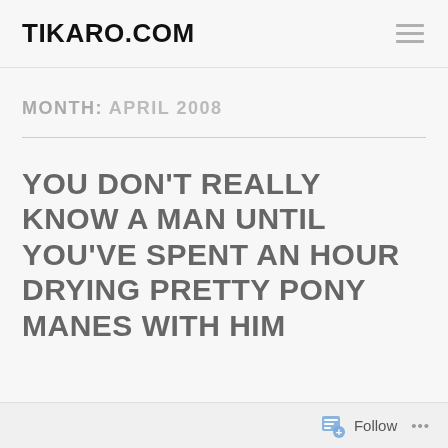TIKARO.COM
MONTH: APRIL 2008
YOU DON'T REALLY KNOW A MAN UNTIL YOU'VE SPENT AN HOUR DRYING PRETTY PONY MANES WITH HIM
Follow ...